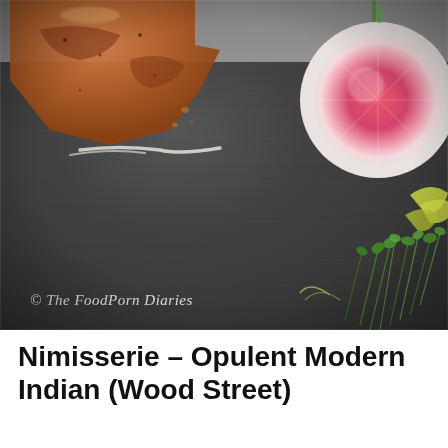[Figure (photo): Food photograph on a dark slate board. Upper left shows a piece of grilled/tandoori food (tikka or similar) with a white sauce drizzle. Upper right features a sliced watermelon radish (circular, pink and white). Lower right has fresh microgreens and yellow herbs. Watermark reads '© The FoodPorn Diaries' in italic script at bottom left.]
Nimisserie – Opulent Modern Indian (Wood Street)